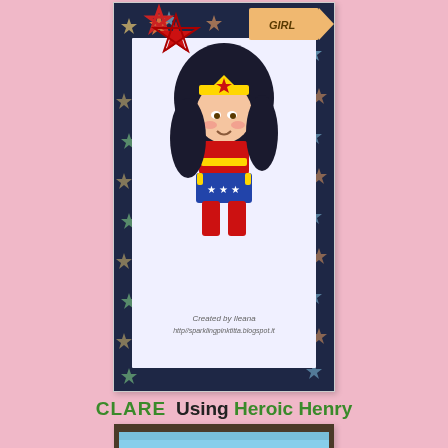[Figure (photo): Handmade greeting card featuring a Wonder Woman chibi character dressed in red, gold and blue costume with stars, placed on a dark navy star-patterned background with decorative red star embellishments. Text overlay reads 'Created by Ileana http://sparklingpinktitta.blogspot.it']
CLARE   Using Heroic Henry
[Figure (photo): Partially visible handmade card with comic book style artwork featuring 'RANCH!' text in bold comic lettering on a yellow and blue background]